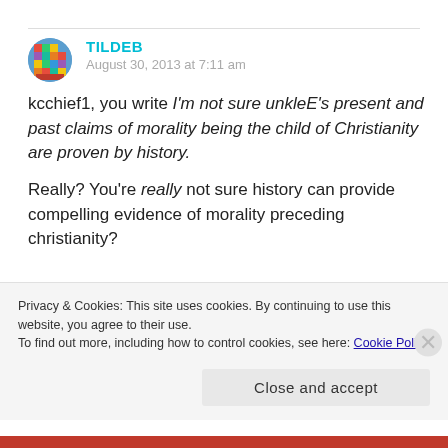[Figure (illustration): User avatar icon for TILDEB, circular colorful pixel art style image]
TILDEB
August 30, 2013 at 7:11 am
kcchief1, you write I'm not sure unkleE's present and past claims of morality being the child of Christianity are proven by history.
Really? You're really not sure history can provide compelling evidence of morality preceding christianity?
Privacy & Cookies: This site uses cookies. By continuing to use this website, you agree to their use.
To find out more, including how to control cookies, see here: Cookie Policy
Close and accept